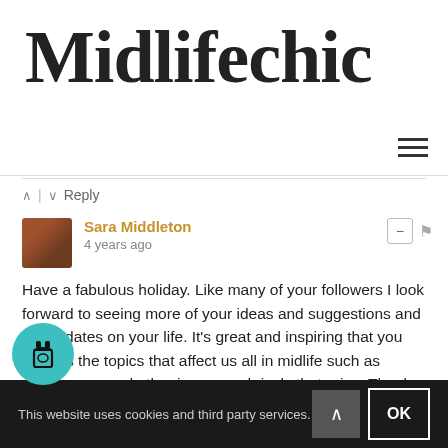Midlifechic
^ | v  Reply
Sara Middleton
4 years ago
Have a fabulous holiday. Like many of your followers I look forward to seeing more of your ideas and suggestions and the updates on your life. It's great and inspiring that you discuss the topics that affect us all in midlife such as menopause and other issues and rivals that arise. Thank you for sharing and nging discussion on the topics that are relevant to s and of course sharing your fashion and style ideas. You also acknowledge that we don't all have large budgets...
This website uses cookies and third party services.
OK